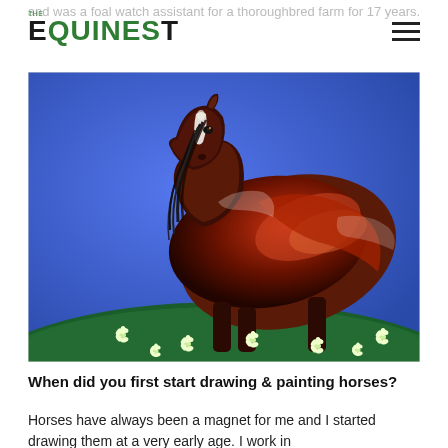and was a foal watch assistant for a thoroughbred farm for 17 years.
THE EQUINEST
[Figure (photo): Painting of a dark bay/chestnut horse rearing or leaping against a vivid blue background, with green foliage and small white flowers at the bottom. The horse is depicted in a dramatic pastel or oil painting style.]
When did you first start drawing & painting horses?
Horses have always been a magnet for me and I started drawing them at a very early age. I work in